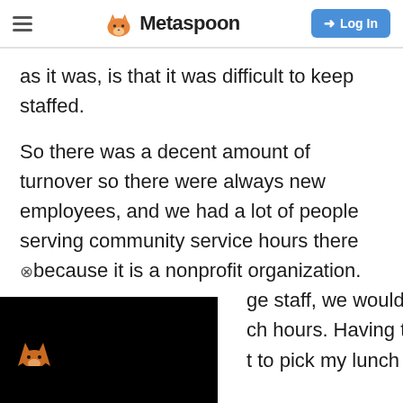Metaspoon — Log In
as it was, is that it was difficult to keep staffed.
So there was a decent amount of turnover so there were always new employees, and we had a lot of people serving community service hours there because it is a nonprofit organization.
...ge staff, we would do ...ch hours. Having the ...t to pick my lunch
[Figure (screenshot): Black overlay box at bottom left showing a fox logo icon on dark background, partially obscuring text]